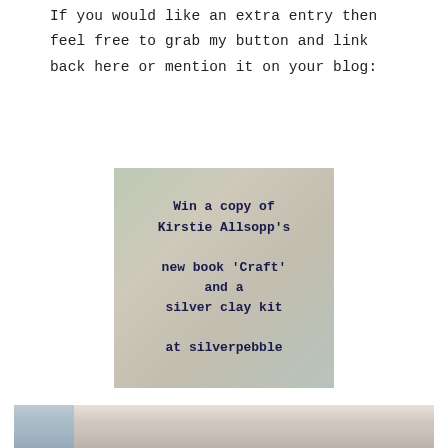If you would like an extra entry then feel free to grab my button and link back here or mention it on your blog:
[Figure (other): Promotional giveaway button image showing a book cover for Kirstie Allsopp's Craft book with text overlay: 'Win a copy of Kirstie Allsopp's new book 'Craft' and a silver clay kit at silverpebble']
This giveaway is open to everyone, not just UK readers.
[Figure (photo): Partial photo at bottom of page showing a blurred close-up image, appears to show hands or craft materials with blue and beige tones]